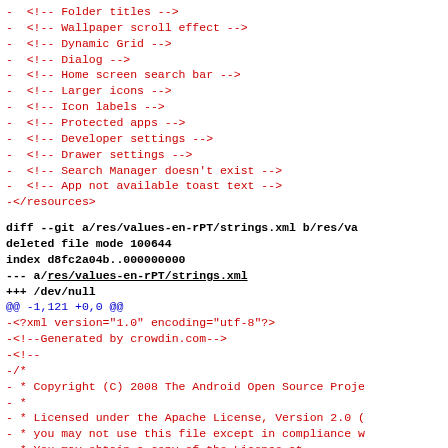-  <!-- Folder titles -->
-  <!-- Wallpaper scroll effect -->
-  <!-- Dynamic Grid -->
-  <!-- Dialog -->
-  <!-- Home screen search bar -->
-  <!-- Larger icons -->
-  <!-- Icon labels -->
-  <!-- Protected apps -->
-  <!-- Developer settings -->
-  <!-- Drawer settings -->
-  <!-- Search Manager doesn't exist -->
-  <!-- App not available toast text -->
-</resources>
diff --git a/res/values-en-rPT/strings.xml b/res/va
deleted file mode 100644
index d8fc2a04b..000000000
--- a/res/values-en-rPT/strings.xml
+++ /dev/null
@@ -1,121 +0,0 @@
-<?xml version="1.0" encoding="utf-8"?>
-<!--Generated by crowdin.com-->
-<!--
-/*
- * Copyright (C) 2008 The Android Open Source Proje
- *
- * Licensed under the Apache License, Version 2.0 (
- * you may not use this file except in compliance w
- * You may obtain a copy of the License at
- *
- *      http://www.apache.org/licenses/LICENSE_2.0